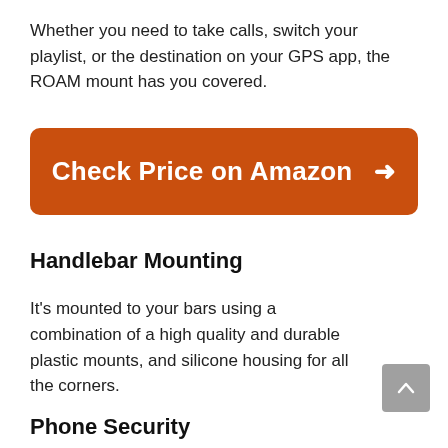Whether you need to take calls, switch your playlist, or the destination on your GPS app, the ROAM mount has you covered.
[Figure (other): Orange call-to-action button with white bold text 'Check Price on Amazon' and a right arrow]
Handlebar Mounting
It's mounted to your bars using a combination of a high quality and durable plastic mounts, and silicone housing for all the corners.
Phone Security